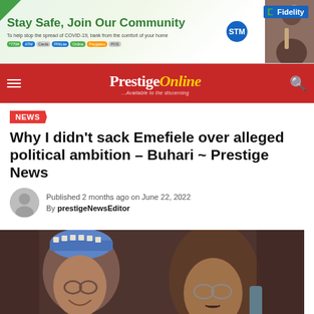[Figure (other): Fidelity Bank advertisement banner: Stay Safe, Join Our Community — COVID-19 banking from home promotion with person holding phone and Fidelity logo]
Prestige Online ...Available to the discerning
NEWS
Why I didn't sack Emefiele over alleged political ambition – Buhari ~ Prestige News
Published 2 months ago on June 22, 2022
By prestigeNewsEditor
[Figure (photo): Photo of President Buhari (left, smiling, wearing traditional cap) and Godwin Emefiele (right, wearing glasses)]